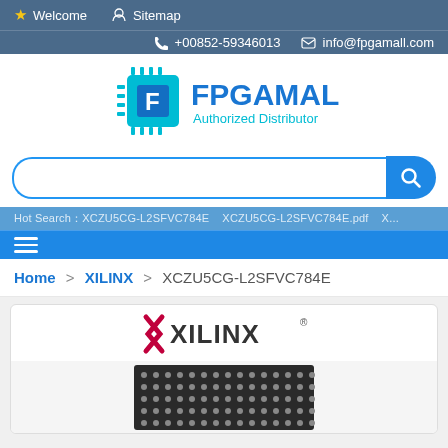Welcome   Sitemap
+00852-59346013   info@fpgamall.com
[Figure (logo): FPGAMALL Authorized Distributor logo with circuit chip icon in teal/blue]
Hot Search: XCZU5CG-L2SFVC784E   XCZU5CG-L2SFVC784E.pdf   X...
Home > XILINX > XCZU5CG-L2SFVC784E
[Figure (logo): XILINX logo in dark red with registered trademark symbol]
[Figure (photo): IC chip / BGA package photograph showing grid of solder balls]